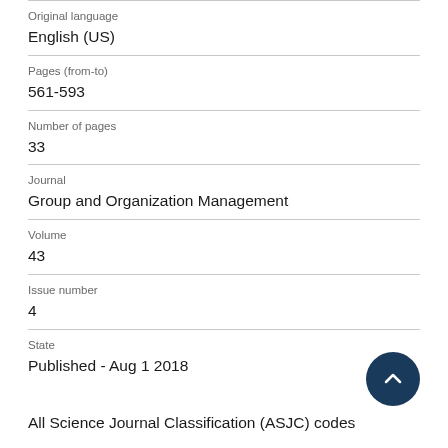Original language
English (US)
Pages (from-to)
561-593
Number of pages
33
Journal
Group and Organization Management
Volume
43
Issue number
4
State
Published - Aug 1 2018
All Science Journal Classification (ASJC) codes